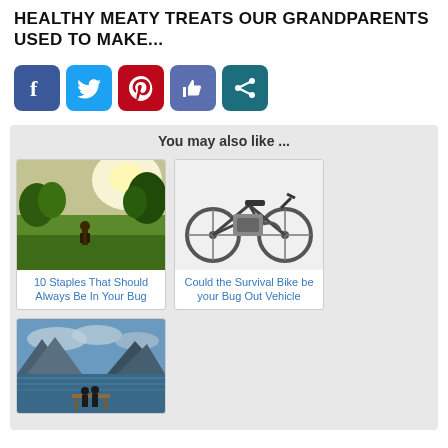HEALTHY MEATY TREATS OUR GRANDPARENTS USED TO MAKE...
[Figure (infographic): Row of 5 social media share buttons: Facebook (blue), Twitter (light blue), Pinterest (red), Like/thumbs-up (medium blue), Share (teal)]
You may also like ...
[Figure (photo): Photo of a person walking in a sunny green meadow with trees]
10 Staples That Should Always Be In Your Bug
[Figure (photo): Photo of a motorized bicycle/survival bike on white background]
Could the Survival Bike be your Bug Out Vehicle
[Figure (photo): Photo of two people standing on a dock over a blue lake with mountains in background]